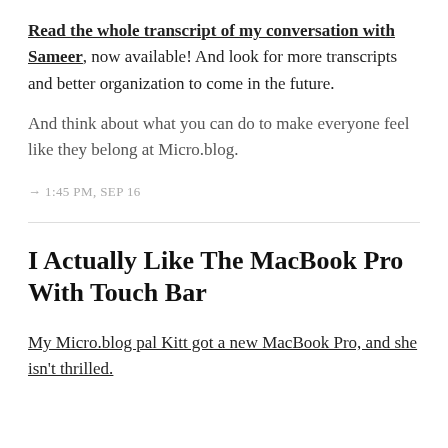Read the whole transcript of my conversation with Sameer, now available! And look for more transcripts and better organization to come in the future.
And think about what you can do to make everyone feel like they belong at Micro.blog.
→ 1:45 PM, SEP 16
I Actually Like The MacBook Pro With Touch Bar
My Micro.blog pal Kitt got a new MacBook Pro, and she isn't thrilled.